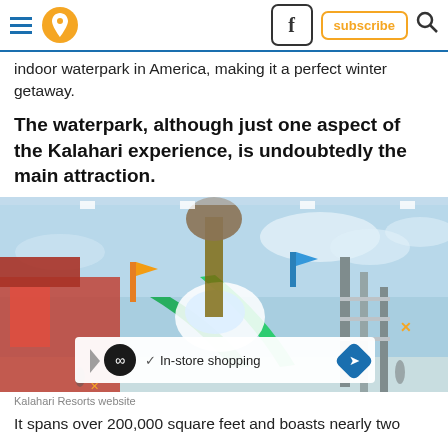Navigation header with hamburger menu, location icon, Facebook button, subscribe button, search icon
indoor waterpark in America, making it a perfect winter getaway.
The waterpark, although just one aspect of the Kalahari experience, is undoubtedly the main attraction.
[Figure (photo): Interior panoramic view of Kalahari indoor waterpark showing water slides, splash features, colorful play structures, and a large open indoor space with blue sky murals]
Kalahari Resorts website
It spans over 200,000 square feet and boasts nearly two